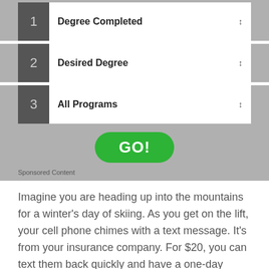1 Degree Completed
2 Desired Degree
3 All Programs
GO!
Sponsored Content
Imagine you are heading up into the mountains for a winter's day of skiing. As you get on the lift, your cell phone chimes with a text message. It's from your insurance company. For $20, you can text them back quickly and have a one-day policy rider added specifically to cover your skiing adventure... broken gear, lost wallet, sprained ankle.
It's an OTI, or One-Time Insurance policy, it may be